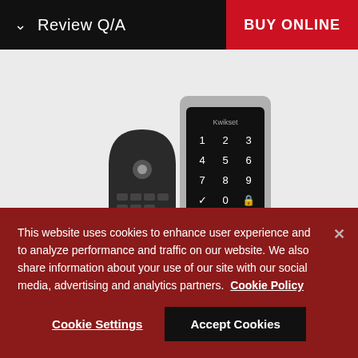Review Q/A | BUY ONLINE
[Figure (photo): Two smart electronic door locks/keypads on a light gray background. On the left is a curved bronze/dark-colored lock with a keypad. On the right is a rectangular silver and black touchscreen keypad with a numeric grid (1-9, *, 0, #).]
This website uses cookies to enhance user experience and to analyze performance and traffic on our website. We also share information about your use of our site with our social media, advertising and analytics partners.  Cookie Policy
Cookie Settings
Accept Cookies